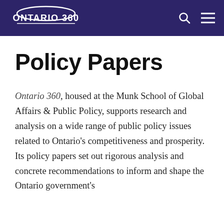Ontario 360 [logo] — navigation header with search and menu icons
Policy Papers
Ontario 360, housed at the Munk School of Global Affairs & Public Policy, supports research and analysis on a wide range of public policy issues related to Ontario's competitiveness and prosperity. Its policy papers set out rigorous analysis and concrete recommendations to inform and shape the Ontario government's